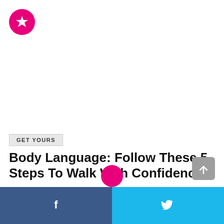[Figure (logo): Pink circular logo with white star icon]
GET YOURS
Body Language: Follow These 5 Steps To Walk With Confidence
[Figure (other): Scroll to top button (grey rounded square with upward arrow)]
[Figure (other): Pink share circle button]
Facebook share | Twitter share